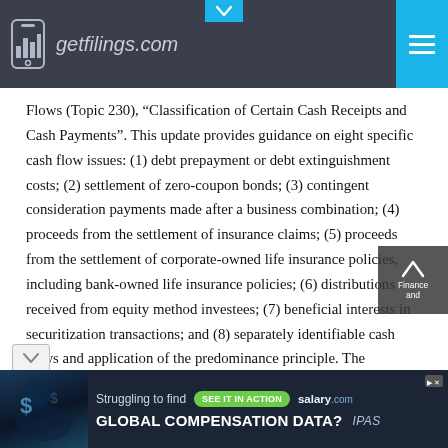getfilings.com
Flows (Topic 230), “Classification of Certain Cash Receipts and Cash Payments”. This update provides guidance on eight specific cash flow issues: (1) debt prepayment or debt extinguishment costs; (2) settlement of zero-coupon bonds; (3) contingent consideration payments made after a business combination; (4) proceeds from the settlement of insurance claims; (5) proceeds from the settlement of corporate-owned life insurance policies, including bank-owned life insurance policies; (6) distributions received from equity method investees; (7) beneficial interests in securitization transactions; and (8) separately identifiable cash flows and application of the predominance principle. The amendments in this update are effective for fiscal years, and periods within those fiscal years, beginning after December 15, 2017.
[Figure (other): Advertisement banner: Struggling to find GLOBAL COMPENSATION DATA? salary.com IPAS]